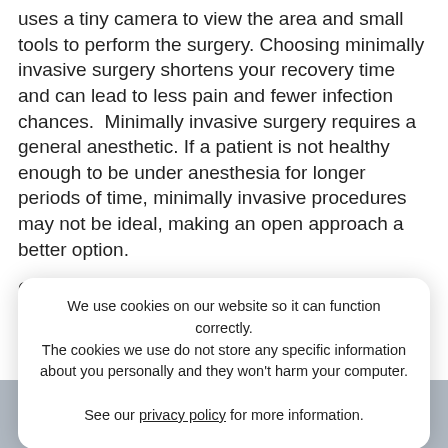uses a tiny camera to view the area and small tools to perform the surgery. Choosing minimally invasive surgery shortens your recovery time and can lead to less pain and fewer infection chances.  Minimally invasive surgery requires a general anesthetic. If a patient is not healthy enough to be under anesthesia for longer periods of time, minimally invasive procedures may not be ideal, making an open approach a better option.
Open surgery requires a large single incision that makes a cut through the abdominal muscles and can lead to blood loss and infection risk. Open procedures are performed with local anesthesia and sedation. Open surgery can damage the surrounding area and has greater chances for infection and increased pain.
Despite the seemingly negative impact of having open
We use cookies on our website so it can function correctly. The cookies we use do not store any specific information about you personally and they won't harm your computer.

See our privacy policy for more information.
Accept